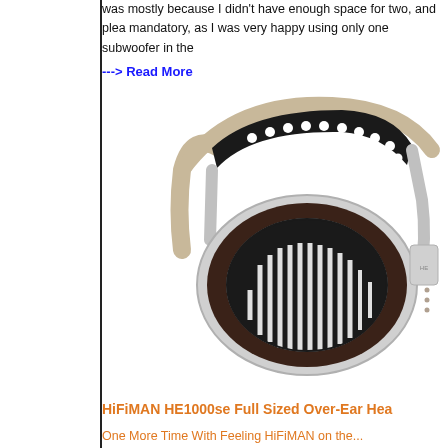was mostly because I didn't have enough space for two, and plea mandatory, as I was very happy using only one subwoofer in the
---> Read More
[Figure (photo): HiFiMAN HE1000se full-sized over-ear headphones shown from the front-side angle, displaying silver oval ear cup with black vertical grill slats, black perforated leather headband, and beige/grey strap]
HiFiMAN HE1000se Full Sized Over-Ear Hea
One More Time With Feeling HiFiMAN on the...